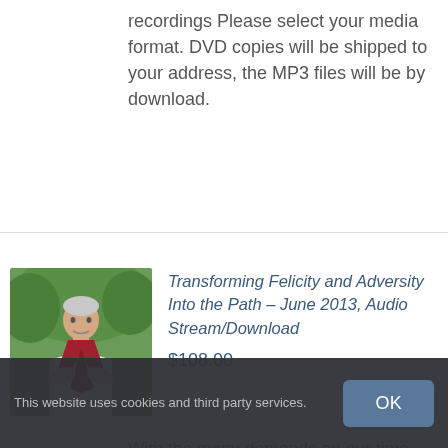recordings Please select your media format. DVD copies will be shipped to your address, the MP3 files will be by download.
[Figure (photo): Photo of a man wearing a white shirt and a red/maroon sash or scarf, standing outdoors with green trees in the background.]
Transforming Felicity and Adversity Into the Path – June 2013, Audio Stream/Download
$108.00
With the many demands on our time
This website uses cookies and third party services.